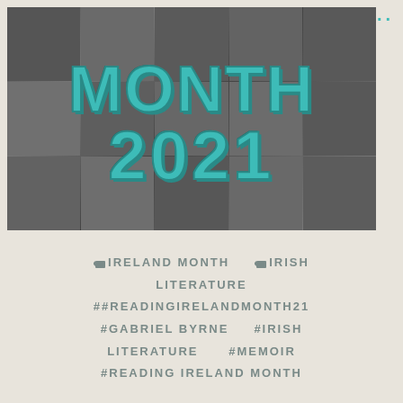[Figure (photo): Collage of black and white portrait photographs of various Irish literary figures arranged in a grid, with 'MONTH 2021' overlaid in large teal text]
🏷 IRELAND MONTH    🏷 IRISH LITERATURE
##READINGIRELANDMONTH21
#GABRIEL BYRNE    #IRISH LITERATURE    #MEMOIR
#READING IRELAND MONTH